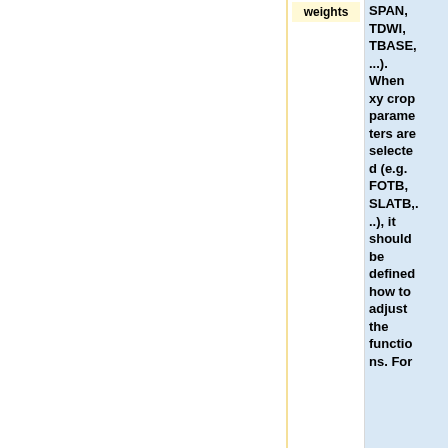|  | weights | description |
| --- | --- | --- |
|  |  | SPAN, TDWI, TBASE, ...). When xy crop parameters are selected (e.g. FOTB, SLATB,...), it should be defined how to adjust the functions. For |